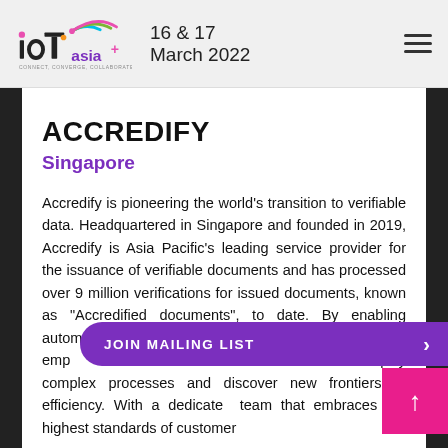IoT Asia+ 16 & 17 March 2022
ACCREDIFY
Singapore
Accredify is pioneering the world’s transition to verifiable data. Headquartered in Singapore and founded in 2019, Accredify is Asia Pacific’s leading service provider for the issuance of verifiable documents and has processed over 9 million verifications for issued documents, known as “Accredified documents”, to date. By enabling automation of the document exchange, Accredify has empowered nearly 600 users in nine markets to simplify complex processes and discover new frontiers of efficiency. With a dedicated team that embraces the highest standards of customer